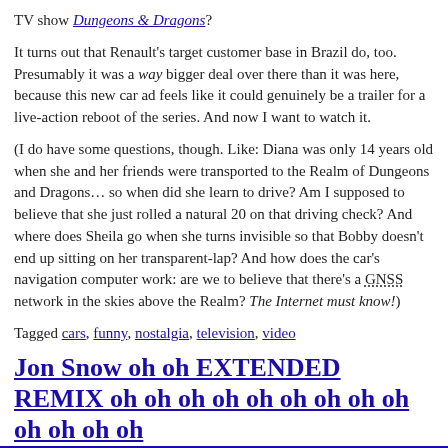TV show Dungeons & Dragons?
It turns out that Renault's target customer base in Brazil do, too. Presumably it was a way bigger deal over there than it was here, because this new car ad feels like it could genuinely be a trailer for a live-action reboot of the series. And now I want to watch it.
(I do have some questions, though. Like: Diana was only 14 years old when she and her friends were transported to the Realm of Dungeons and Dragons… so when did she learn to drive? Am I supposed to believe that she just rolled a natural 20 on that driving check? And where does Sheila go when she turns invisible so that Bobby doesn't end up sitting on her transparent-lap? And how does the car's navigation computer work: are we to believe that there's a GNSS network in the skies above the Realm? The Internet must know!)
Tagged cars, funny, nostalgia, television, video
Jon Snow oh oh EXTENDED REMIX oh oh oh oh oh oh oh oh oh oh oh oh oh
16 May 2019 12:56 0 comments